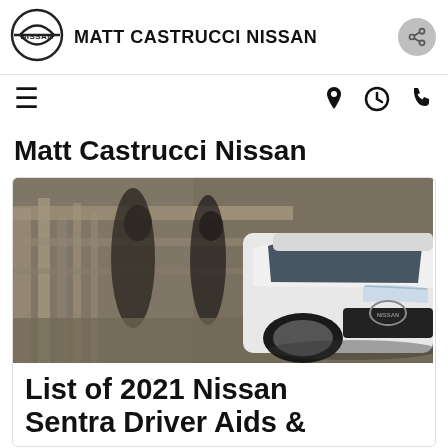MATT CASTRUCCI NISSAN
Matt Castrucci Nissan
[Figure (photo): White Nissan Sentra car seen from the front-right, parked on a bridge or overpass with blurred pedestrians walking in the background. Urban setting with motion blur.]
List of 2021 Nissan Sentra Driver Aids &